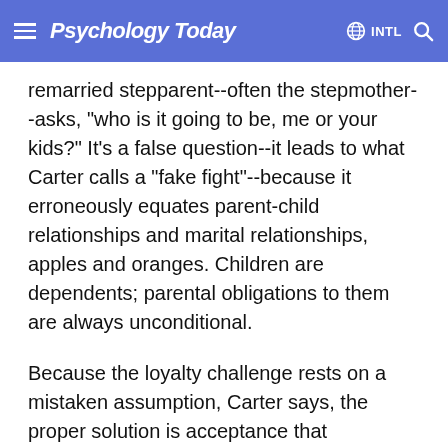Psychology Today  ⊕ INTL 🔍
remarried stepparent--often the stepmother--asks, "who is it going to be, me or your kids?" It's a false question--it leads to what Carter calls a "fake fight"--because it erroneously equates parent-child relationships and marital relationships, apples and oranges. Children are dependents; parental obligations to them are always unconditional.
Because the loyalty challenge rests on a mistaken assumption, Carter says, the proper solution is acceptance that relationships between parent and child are qualitatively different from those between spouses. Still, such conflicts can recur from time to time, as life continually presents new situations